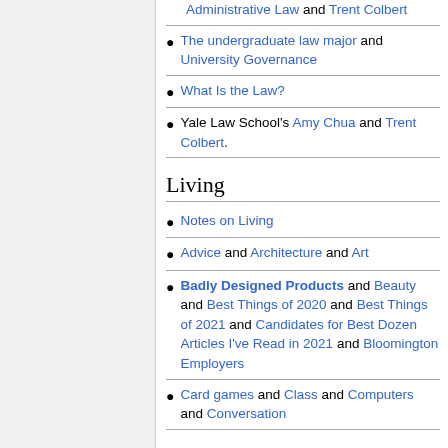Administrative Law and Trent Colbert
The undergraduate law major and University Governance
What Is the Law?
Yale Law School's Amy Chua and Trent Colbert.
Living
Notes on Living
Advice and Architecture and Art
Badly Designed Products and Beauty and Best Things of 2020 and Best Things of 2021 and Candidates for Best Dozen Articles I've Read in 2021 and Bloomington Employers
Card games and Class and Computers and Conversation